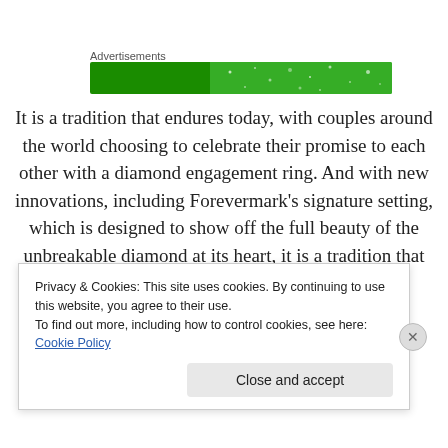[Figure (other): Green advertisement banner with sparkle dots on a lighter green gradient right section]
It is a tradition that endures today, with couples around the world choosing to celebrate their promise to each other with a diamond engagement ring. And with new innovations, including Forevermark's signature setting, which is designed to show off the full beauty of the unbreakable diamond at its heart, it is a tradition that
Privacy & Cookies: This site uses cookies. By continuing to use this website, you agree to their use.
To find out more, including how to control cookies, see here: Cookie Policy
Close and accept